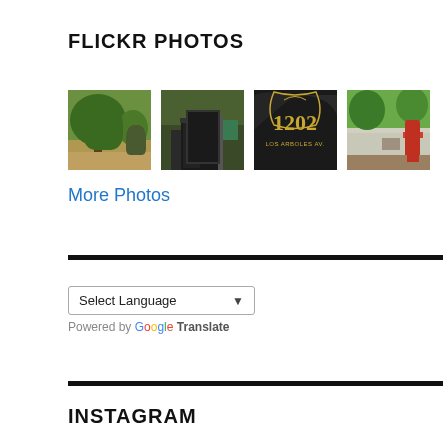FLICKR PHOTOS
[Figure (photo): Four Flickr photo thumbnails showing outdoor scenes including trees, a gate entrance, a 1202 Los Arboles Ave sign, and an outdoor area with a red sculpture.]
More Photos
Select Language ▾
Powered by Google Translate
INSTAGRAM